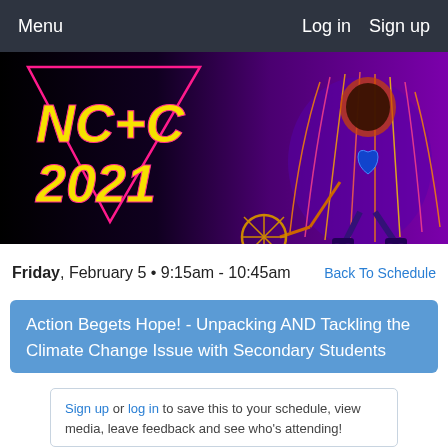Menu   Log in   Sign up
[Figure (illustration): NCTCA 2021 conference banner with neon-style logo on left and illustrated glowing creature on purple/black background on right]
Friday, February 5 • 9:15am - 10:45am   Back To Schedule
Action Begets Hope! - Unpacking AND Tackling the Climate Change Issue with Secondary Students
Sign up or log in to save this to your schedule, view media, leave feedback and see who's attending!